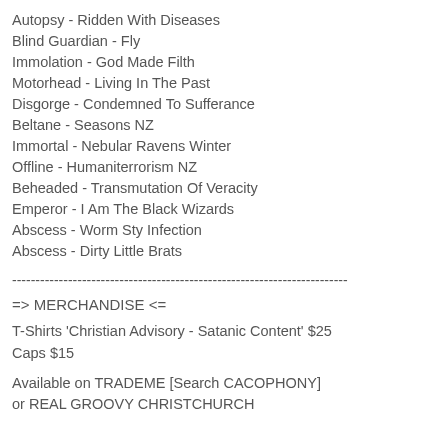Autopsy - Ridden With Diseases
Blind Guardian - Fly
Immolation - God Made Filth
Motorhead - Living In The Past
Disgorge - Condemned To Sufferance
Beltane - Seasons NZ
Immortal - Nebular Ravens Winter
Offline - Humaniterrorism NZ
Beheaded - Transmutation Of Veracity
Emperor - I Am The Black Wizards
Abscess - Worm Sty Infection
Abscess - Dirty Little Brats
------------------------------------------------------------------------
=> MERCHANDISE <=
T-Shirts 'Christian Advisory - Satanic Content' $25
Caps $15
Available on TRADEME [Search CACOPHONY]
or REAL GROOVY CHRISTCHURCH